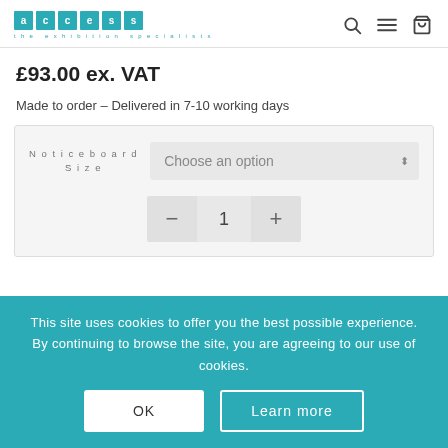[Figure (logo): Access the exhibition specialists logo with teal letter tiles and tagline]
£93.00 ex. VAT
Made to order – Delivered in 7-10 working days
Noticeboard Size
Choose an option (dropdown)
- 1 + (quantity controls)
This site uses cookies to offer you the best possible experience. By continuing to browse the site, you are agreeing to our use of cookies.
OK
Learn more